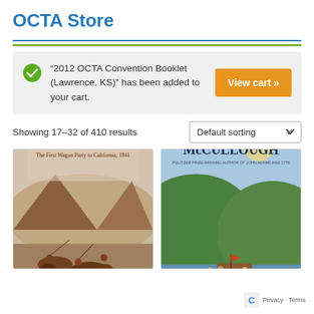OCTA Store
“2012 OCTA Convention Booklet (Lawrence, KS)” has been added to your cart.
View cart »
Showing 17–32 of 410 results
Default sorting
[Figure (illustration): Book cover: No Trail to Follow - The First Wagon Party to California, 1841]
[Figure (illustration): Book cover: David McCullough - #1 New York Times Bestseller, Pulitzer Prize-Winning Author]